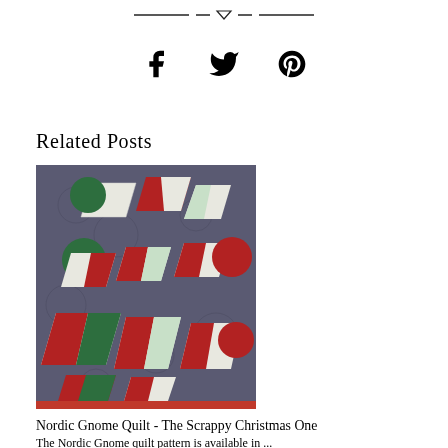— — ⬡ — —
[Figure (other): Social share icons: Facebook, Twitter, Pinterest]
Related Posts
[Figure (photo): A quilt featuring Nordic Gnome pattern in red, green, and white on a dark navy/grey background, displayed as a table runner or lap quilt folded and laid flat.]
Nordic Gnome Quilt - The Scrappy Christmas One
The Nordic Gnome quilt pattern is available in ...